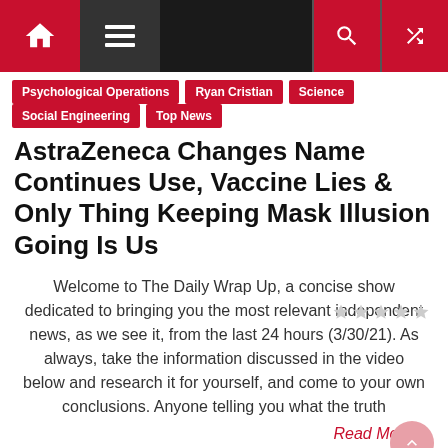Navigation bar with home, menu, search, and shuffle icons
Psychological Operations
Ryan Cristian
Science
Social Engineering
Top News
AstraZeneca Changes Name Continues Use, Vaccine Lies & Only Thing Keeping Mask Illusion Going Is Us
Welcome to The Daily Wrap Up, a concise show dedicated to bringing you the most relevant independent news, as we see it, from the last 24 hours (3/30/21). As always, take the information discussed in the video below and research it for yourself, and come to your own conclusions. Anyone telling you what the truth
Read More...
March 30, 2021  Ryan Cristian  Comments(14)